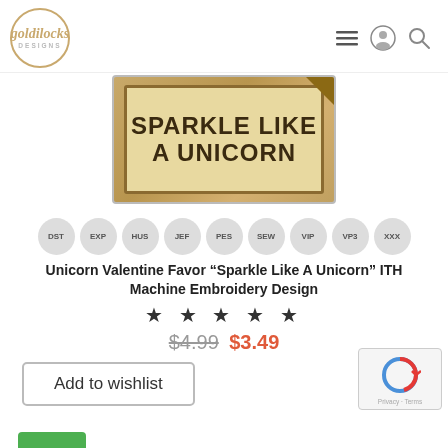goldilocks DESIGNS — navigation header
[Figure (photo): Product image showing embroidered patch/label with text 'SPARKLE LIKE A UNICORN' in bold lettering on a tan/cream background]
DST EXP HUS JEF PES SEW VIP VP3 XXX — embroidery format badges
Unicorn Valentine Favor “Sparkle Like A Unicorn” ITH Machine Embroidery Design
★ ★ ★ ★ ★
$4.99  $3.49
Add to wishlist